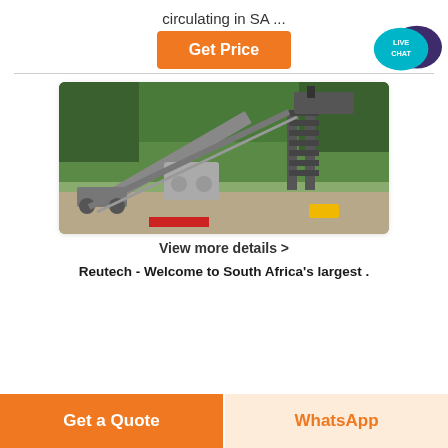circulating in SA ...
Get Price
[Figure (illustration): Live Chat bubble icon with teal speech bubble and dark purple chat icon]
[Figure (photo): Industrial mining/crushing equipment and conveyor system with green forested hillside in background]
View more details >
Reutech - Welcome to South Africa's largest .
Get a Quote
WhatsApp